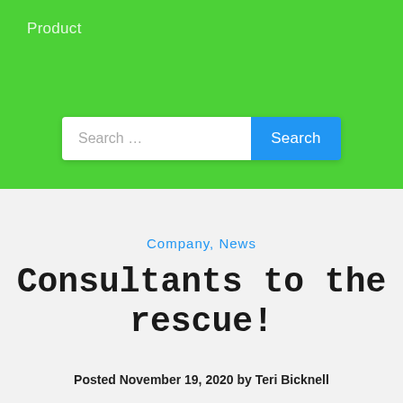Product
[Figure (screenshot): Search bar with text input showing 'Search ...' placeholder and a blue 'Search' button]
Company, News
Consultants to the rescue!
Posted November 19, 2020 by Teri Bicknell